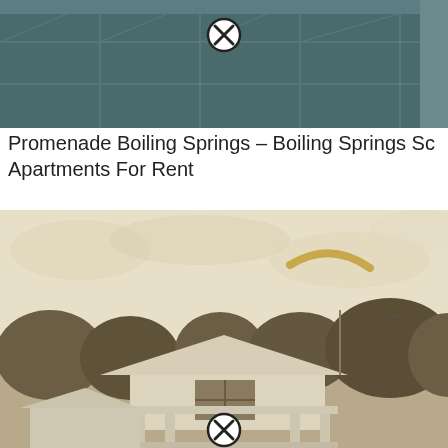[Figure (photo): Aerial or overhead view of a parking lot or paved surface with grid lines, with a circled X icon overlaid in the center top area.]
Promenade Boiling Springs – Boiling Springs Sc Apartments For Rent
[Figure (photo): Vintage black and white photograph of a house with a front porch and columns, trees in the background, a pale sky with a curved yellowish object visible. A circled X icon is overlaid at the bottom center.]